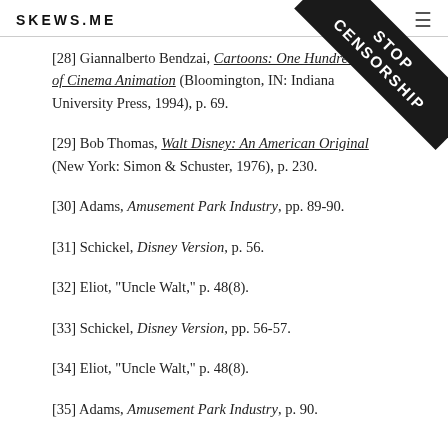SKEWS.ME
[28] Giannalberto Bendzai, Cartoons: One Hundred Years of Cinema Animation (Bloomington, IN: Indiana University Press, 1994), p. 69.
[29] Bob Thomas, Walt Disney: An American Original (New York: Simon & Schuster, 1976), p. 230.
[30] Adams, Amusement Park Industry, pp. 89-90.
[31] Schickel, Disney Version, p. 56.
[32] Eliot, "Uncle Walt," p. 48(8).
[33] Schickel, Disney Version, pp. 56-57.
[34] Eliot, "Uncle Walt," p. 48(8).
[35] Adams, Amusement Park Industry, p. 90.